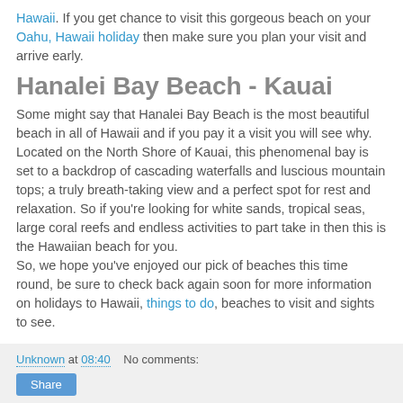Hawaii. If you get chance to visit this gorgeous beach on your Oahu, Hawaii holiday then make sure you plan your visit and arrive early.
Hanalei Bay Beach - Kauai
Some might say that Hanalei Bay Beach is the most beautiful beach in all of Hawaii and if you pay it a visit you will see why. Located on the North Shore of Kauai, this phenomenal bay is set to a backdrop of cascading waterfalls and luscious mountain tops; a truly breath-taking view and a perfect spot for rest and relaxation. So if you're looking for white sands, tropical seas, large coral reefs and endless activities to part take in then this is the Hawaiian beach for you.
So, we hope you've enjoyed our pick of beaches this time round, be sure to check back again soon for more information on holidays to Hawaii, things to do, beaches to visit and sights to see.
Unknown at 08:40   No comments:
Share